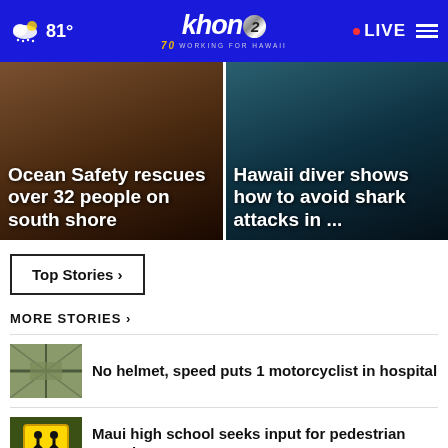khon2 WORKING FOR HAWAII — 81° — LIVE
[Figure (photo): Left hero image: Ocean Safety rescues over 32 people on south shore — dark beach/sunset background]
Ocean Safety rescues over 32 people on south shore
[Figure (photo): Right hero image: Hawaii diver shows how to avoid shark attacks in ... — dark underwater background]
Hawaii diver shows how to avoid shark attacks in ...
Top Stories ▶
MORE STORIES ▶
[Figure (photo): Thumbnail aerial view of road/intersection]
No helmet, speed puts 1 motorcyclist in hospital
[Figure (photo): Thumbnail of yellow pedestrian crossing warning sign]
Maui high school seeks input for pedestrian crossing